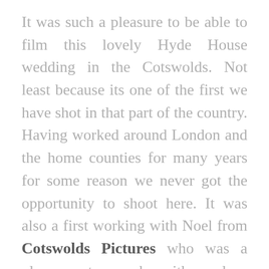It was such a pleasure to be able to film this lovely Hyde House wedding in the Cotswolds. Not least because its one of the first we have shot in that part of the country. Having worked around London and the home counties for many years for some reason we never got the opportunity to shoot here. It was also a first working with Noel from Cotswolds Pictures who was a pleasure to work with and a seasoned pro from this area. Charlotte and James chose Hyde House as their venue and what a gorgeous place it is too. Surrounded by the awe inspiring Cotswold's landscape, Hyde House is a great location for a wedding. The wedding ceremony and party took place in the barn which is adjacent to Hyde House and has kind of a rustic feel to it. At the back there is a beautiful garden